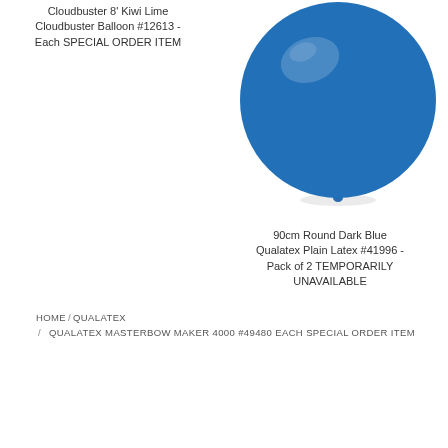Cloudbuster 8' Kiwi Lime Cloudbuster Balloon #12613 - Each SPECIAL ORDER ITEM
[Figure (photo): Large round dark blue latex balloon against white background]
90cm Round Dark Blue Qualatex Plain Latex #41996 - Pack of 2 TEMPORARILY UNAVAILABLE
HOME / QUALATEX / QUALATEX MASTERBOW MAKER 4000 #49480 EACH SPECIAL ORDER ITEM